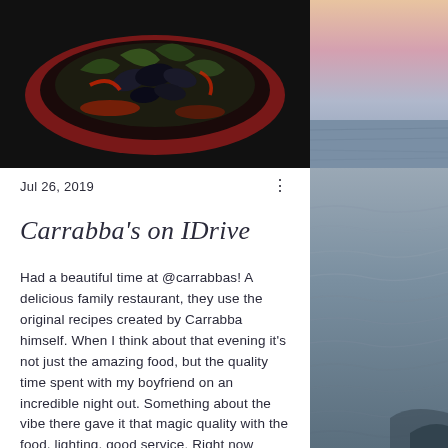[Figure (photo): Top left photo showing food in a dark bowl/dish with vegetables, dark background]
[Figure (photo): Top right partial photo showing pink/purple sunset sky]
Jul 26, 2019
Carrabba's on IDrive
Had a beautiful time at @carrabbas! A delicious family restaurant, they use the original recipes created by Carrabba himself. When I think about that evening it's not just the amazing food, but the quality time spent with my boyfriend on an incredible night out. Something about the vibe there gave it that magic quality with the food, lighting, good service. Right now they're running a special called Bring Homemade Home, where you can get an entree of equivalent value to your
[Figure (photo): Right side photo showing grey ocean waves with dark water]